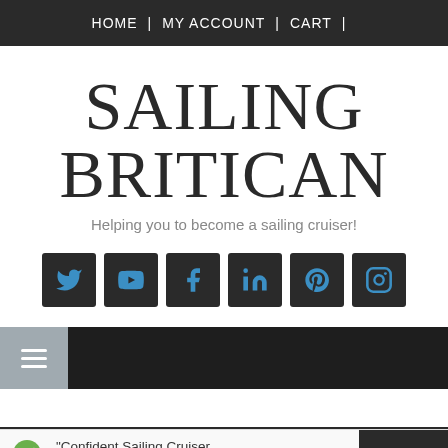HOME | MY ACCOUNT | CART |
SAILING BRITICAN
Helping you to become a sailing cruiser!
[Figure (infographic): Six social media icons (Twitter, YouTube, Facebook, LinkedIn, Pinterest, Instagram) displayed as dark square buttons with blue icons]
[Figure (infographic): Navigation bar with hamburger menu icon on grey-blue left panel and dark right panel]
"Confident Sailing Cruiser Collection — All Digital Guides" ha...
View cart